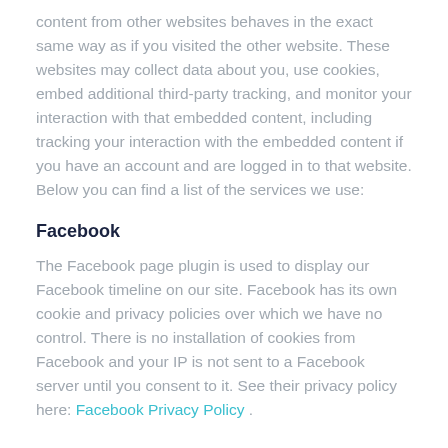content from other websites behaves in the exact same way as if you visited the other website. These websites may collect data about you, use cookies, embed additional third-party tracking, and monitor your interaction with that embedded content, including tracking your interaction with the embedded content if you have an account and are logged in to that website. Below you can find a list of the services we use:
Facebook
The Facebook page plugin is used to display our Facebook timeline on our site. Facebook has its own cookie and privacy policies over which we have no control. There is no installation of cookies from Facebook and your IP is not sent to a Facebook server until you consent to it. See their privacy policy here: Facebook Privacy Policy .